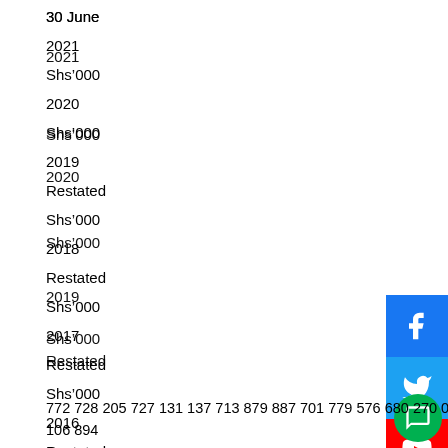30 June
2021
Shs’000
2020
Shs’000
2019
Restated
Shs’000
2018
Restated
Shs’000
2017
Restated
Shs’000
2016
Restated
Shs’000
772 728 205 727 131 137 713 879 887 701 779 576 680 270 049 66…
106 894